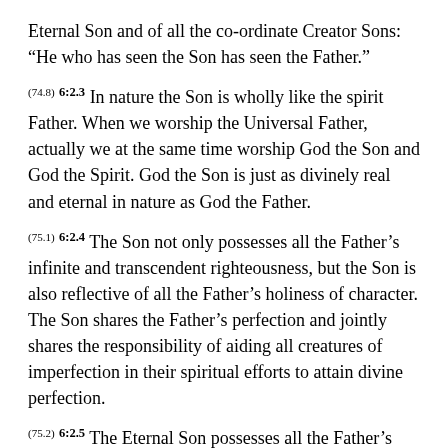Eternal Son and of all the co-ordinate Creator Sons: “He who has seen the Son has seen the Father.”
(74.8) 6:2.3 In nature the Son is wholly like the spirit Father. When we worship the Universal Father, actually we at the same time worship God the Son and God the Spirit. God the Son is just as divinely real and eternal in nature as God the Father.
(75.1) 6:2.4 The Son not only possesses all the Father’s infinite and transcendent righteousness, but the Son is also reflective of all the Father’s holiness of character. The Son shares the Father’s perfection and jointly shares the responsibility of aiding all creatures of imperfection in their spiritual efforts to attain divine perfection.
(75.2) 6:2.5 The Eternal Son possesses all the Father’s character of divinity and attributes of spirituality. The Son is the fullness of God’s absoluteness in personality and